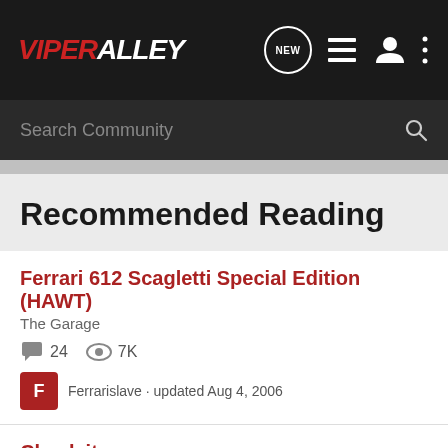ViperAlley
Search Community
Recommended Reading
Ferrari 612 Scagletti Special Edition (HAWT)
The Garage
24 comments · 7K views
Ferrarislave · updated Aug 4, 2006
Check it
The Garage
10 comments · 1K views